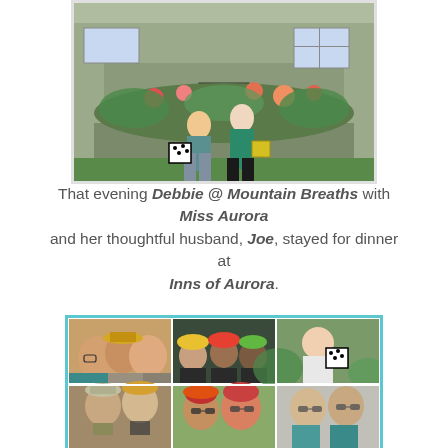[Figure (photo): Two women standing in front of a stone building with flower garden, one holding a black and white polka dot bag]
That evening Debbie @ Mountain Breaths with Miss Aurora and her thoughtful husband, Joe, stayed for dinner at Inns of Aurora.
[Figure (photo): Collage of six photos showing groups of people at an outdoor event, wearing hats and colorful clothing]